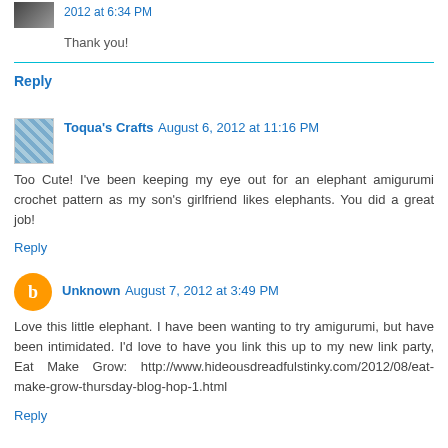2012 at 6:34 PM
Thank you!
Reply
Toqua's Crafts  August 6, 2012 at 11:16 PM
Too Cute! I've been keeping my eye out for an elephant amigurumi crochet pattern as my son's girlfriend likes elephants. You did a great job!
Reply
Unknown  August 7, 2012 at 3:49 PM
Love this little elephant. I have been wanting to try amigurumi, but have been intimidated. I'd love to have you link this up to my new link party, Eat Make Grow: http://www.hideousdreadfulstinky.com/2012/08/eat-make-grow-thursday-blog-hop-1.html
Reply